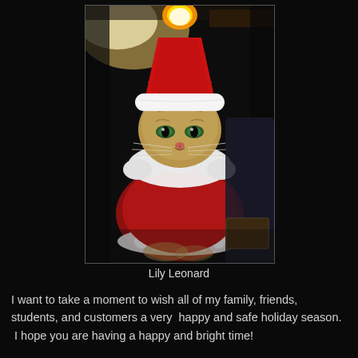[Figure (photo): A tabby cat wearing a red and white Santa Claus costume including a Santa hat with a glowing pompom, and a red velvet Santa suit with white trim. The cat has green eyes and an unamused expression. The background is dark.]
Lily Leonard
I want to take a moment to wish all of my family, friends, students, and customers a very  happy and safe holiday season.  I hope you are having a happy and bright time!